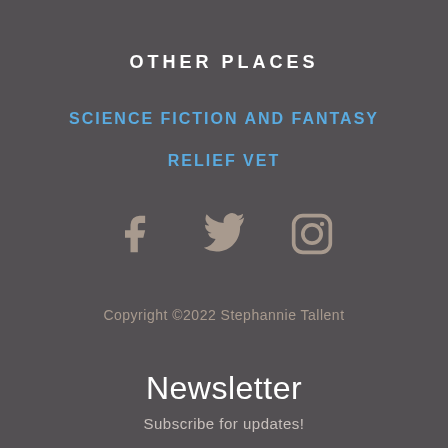OTHER PLACES
SCIENCE FICTION AND FANTASY
RELIEF VET
[Figure (other): Social media icons: Facebook, Twitter, Instagram]
Copyright ©2022 Stephannie Tallent
Newsletter
Subscribe for updates!